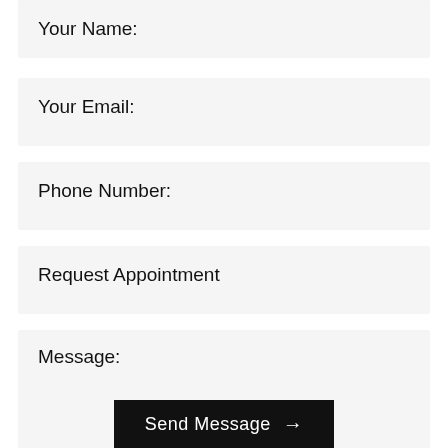Your Name:
Your Email:
Phone Number:
Request Appointment
Message:
Send Message →